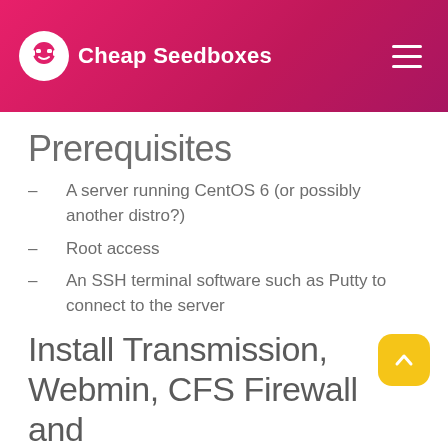Cheap Seedboxes
Prerequisites
– A server running CentOS 6 (or possibly another distro?)
– Root access
– An SSH terminal software such as Putty to connect to the server
Install Transmission, Webmin, CFS Firewall and VSFTPD
Login using root